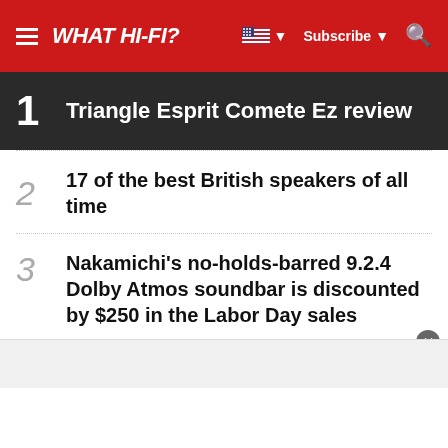WHAT HI-FI?
1 Triangle Esprit Comete Ez review
2 17 of the best British speakers of all time
3 Nakamichi's no-holds-barred 9.2.4 Dolby Atmos soundbar is discounted by $250 in the Labor Day sales
4 Best Bluetooth speakers 2022: portable speakers for every budget